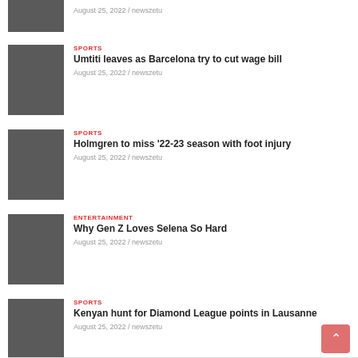[Figure (photo): Gray placeholder thumbnail image]
August 25, 2022 / newszetu
SPORTS
Umtiti leaves as Barcelona try to cut wage bill
August 25, 2022 / newszetu
[Figure (photo): Gray placeholder thumbnail image]
SPORTS
Holmgren to miss '22-23 season with foot injury
August 25, 2022 / newszetu
[Figure (photo): Gray placeholder thumbnail image]
ENTERTAINMENT
Why Gen Z Loves Selena So Hard
August 25, 2022 / newszetu
[Figure (photo): Gray placeholder thumbnail image]
SPORTS
Kenyan hunt for Diamond League points in Lausanne
August 25, 2022 / newszetu